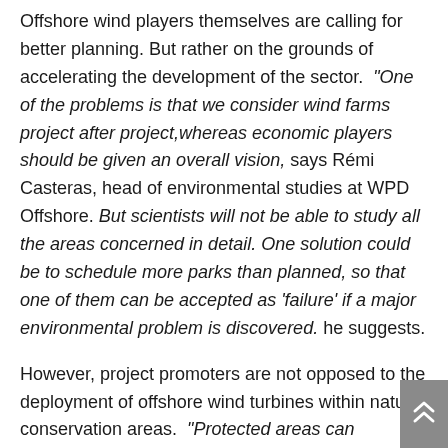Offshore wind players themselves are calling for better planning. But rather on the grounds of accelerating the development of the sector. "One of the problems is that we consider wind farms project after project,whereas economic players should be given an overall vision, says Rémi Casteras, head of environmental studies at WPD Offshore. But scientists will not be able to study all the areas concerned in detail. One solution could be to schedule more parks than planned, so that one of them can be accepted as 'failure' if a major environmental problem is discovered. he suggests.
However, project promoters are not opposed to the deployment of offshore wind turbines within nature conservation areas. "Protected areas can